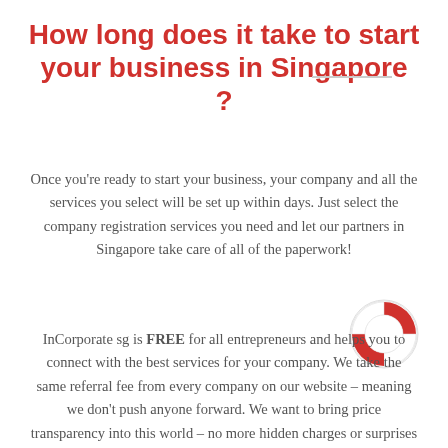How long does it take to start your business in Singapore ?
Once you're ready to start your business, your company and all the services you select will be set up within days. Just select the company registration services you need and let our partners in Singapore take care of all of the paperwork!
[Figure (illustration): Red and white life saver ring icon]
InCorporate sg is FREE for all entrepreneurs and helps you to connect with the best services for your company. We take the same referral fee from every company on our website – meaning we don't push anyone forward. We want to bring price transparency into this world – no more hidden charges or surprises for entrepreneurs when you choose our company registration platform in Singapore!